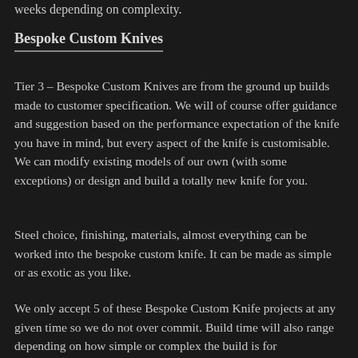weeks depending on complexity.
Bespoke Custom Knives
Tier 3 – Bespoke Custom Knives are from the ground up builds made to customer specification. We will of course offer guidance and suggestion based on the performance expectation of the knife you have in mind, but every aspect of the knife is customisable. We can modify existing models of our own (with some exceptions) or design and build a totally new knife for you.
Steel choice, finishing, materials, almost everything can be worked into the bespoke custom knife. It can be made as simple or as exotic as you like.
We only accept 5 of these Bespoke Custom Knife projects at any given time so we do not over commit. Build time will also range depending on how simple or complex the build is for…